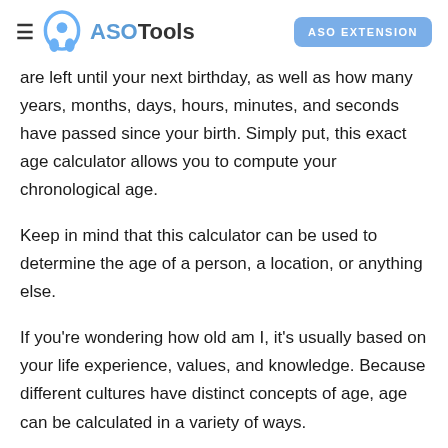ASOTools | ASO EXTENSION
are left until your next birthday, as well as how many years, months, days, hours, minutes, and seconds have passed since your birth. Simply put, this exact age calculator allows you to compute your chronological age.
Keep in mind that this calculator can be used to determine the age of a person, a location, or anything else.
If you're wondering how old am I, it's usually based on your life experience, values, and knowledge. Because different cultures have distinct concepts of age, age can be calculated in a variety of ways.